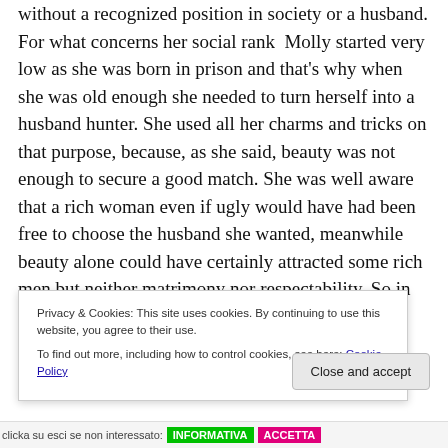without a recognized position in society or a husband. For what concerns her social rank  Molly started very low as she was born in prison and that's why when she was old enough she needed to turn herself into a husband hunter. She used all her charms and tricks on that purpose, because, as she said, beauty was not enough to secure a good match. She was well aware that a rich woman even if ugly would have had been free to choose the husband she wanted, meanwhile beauty alone could have certainly attracted some rich men but neither matrimony nor respectability. So in order to secure her
Privacy & Cookies: This site uses cookies. By continuing to use this website, you agree to their use.
To find out more, including how to control cookies, see here: Cookie Policy
Close and accept
clicka su esci se non interessato: INFORMATIVA  ACCETTA